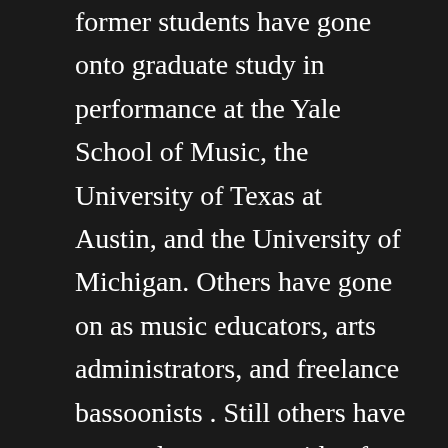former students have gone onto graduate study in performance at the Yale School of Music, the University of Texas at Austin, and the University of Michigan. Others have gone on as music educators, arts administrators, and freelance bassoonists . Still others have pursued careers outside of music and choose to maintain their musical lives avocationally.
Lessons with me are about mastering the fundamentals of bassoon-playing and reed-making-- but always in the service of creative musical expression. I foster a culture of mutual support and camaraderie amongst my students, and strive to create an environment where experimentation and thinking outside the